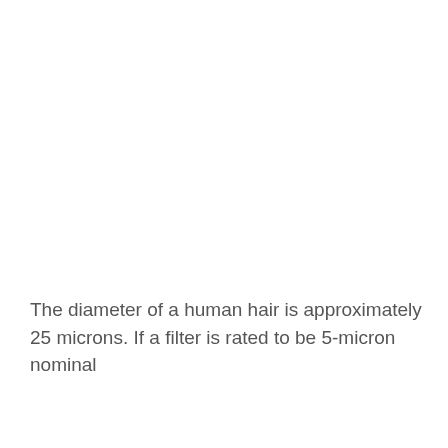The diameter of a human hair is approximately 25 microns. If a filter is rated to be 5-micron nominal